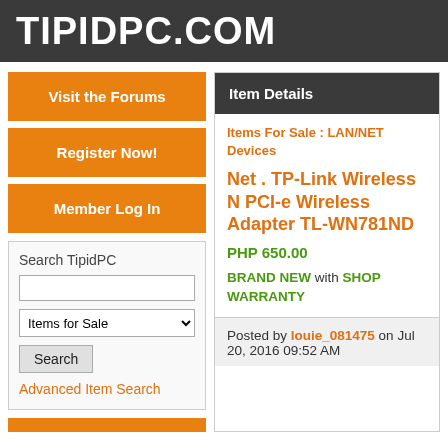TIPIDPC.COM
Visit the Forums
Register Now!
Member Log In
Search TipidPC
Advanced Item Search
Item Details
Items For Sale : LAN/NET Devices
Net . TP-Link Wireless N PCI-e Wireless Adapter TL-WN781ND
PHP 650.00
BRAND NEW with SHOP WARRANTY
Posted by louie_081475 on Jul 20, 2016 09:52 AM